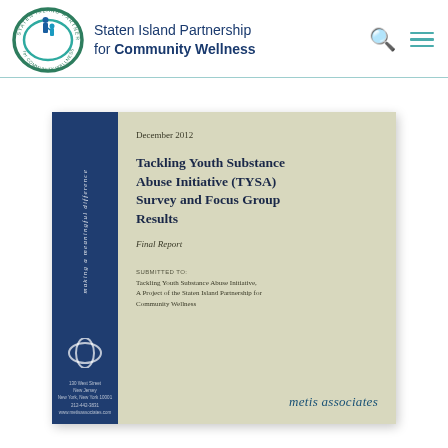Staten Island Partnership for Community Wellness
[Figure (logo): Staten Island Partnership for Community Wellness circular logo with teal/green oval and blue figures]
[Figure (illustration): Report cover page thumbnail showing blue sidebar with 'making a meaningful difference' text and beige main area with report title]
December 2012
Tackling Youth Substance Abuse Initiative (TYSA) Survey and Focus Group Results
Final Report
SUBMITTED TO:
Tackling Youth Substance Abuse Initiative,
A Project of the Staten Island Partnership for Community Wellness
metis associates